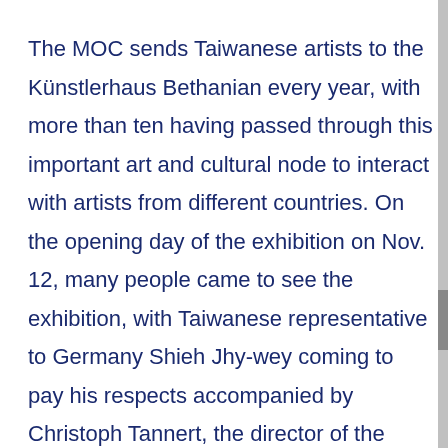The MOC sends Taiwanese artists to the Künstlerhaus Bethanian every year, with more than ten having passed through this important art and cultural node to interact with artists from different countries. On the opening day of the exhibition on Nov. 12, many people came to see the exhibition, with Taiwanese representative to Germany Shieh Jhy-wey coming to pay his respects accompanied by Christoph Tannert, the director of the Künstlerhaus Bethanian, for a guided tour by the two artists.
Tannert remarked that the artists selected from Taiwan in previous years have been fantastic and their works have always outstanding. For example, Ting Chaong-wen's work